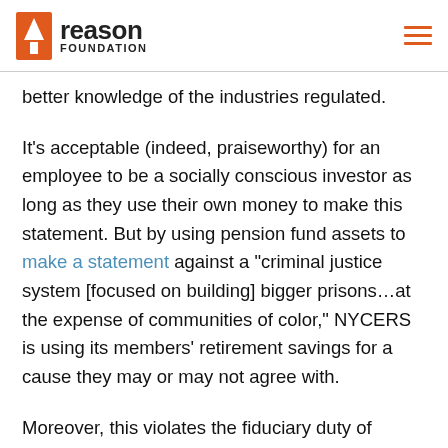reason FOUNDATION
better knowledge of the industries regulated.
It’s acceptable (indeed, praiseworthy) for an employee to be a socially conscious investor as long as they use their own money to make this statement. But by using pension fund assets to make a statement against a “criminal justice system [focused on building] bigger prisons…at the expense of communities of color,” NYCERS is using its members’ retirement savings for a cause they may or may not agree with.
Moreover, this violates the fiduciary duty of pension managers by deliberately making investment policy changes that aren’t guided